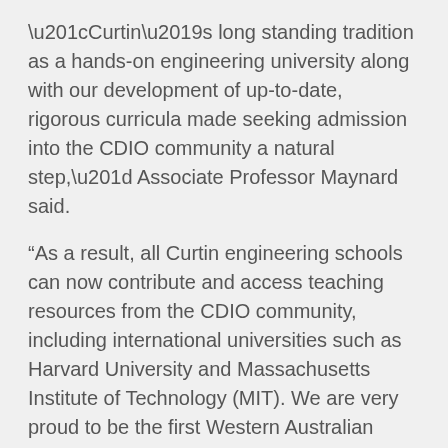“Curtin’s long standing tradition as a hands-on engineering university along with our development of up-to-date, rigorous curricula made seeking admission into the CDIO community a natural step,” Associate Professor Maynard said.
“As a result, all Curtin engineering schools can now contribute and access teaching resources from the CDIO community, including international universities such as Harvard University and Massachusetts Institute of Technology (MIT). We are very proud to be the first Western Australian university and the fourth Australian university to be able to take up such a tremendous opportunity.”
The CDIO framework was proposed by MIT in collaboration with three Swedish universities in the early 2000s.
A core part of the framework is the development of professional and interpersonal skills, achieved through